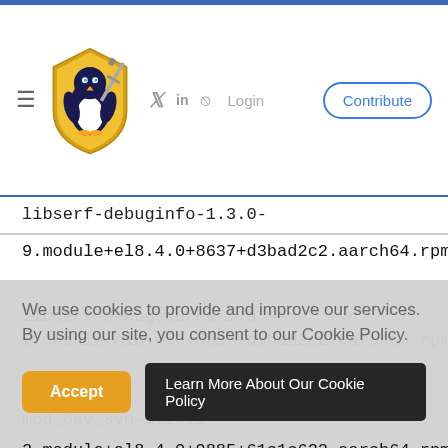Linux Security Expert site header with logo, navigation icons (Twitter, LinkedIn, RSS), Login link, and Contribute button
libserf-debuginfo-1.3.0-
9.module+el8.4.0+8637+d3bad2c2.aarch64.rpm
libserf-debugsource-1.3.9-9.module+el8.4.0+8637+d3bad2c2.aarch64.rpm
mod_dav_svn-1.14.1-
2.module+el8.4.0+9885+61c1c622.aarch64.rpm
We use cookies to provide and improve our services. By using our site, you consent to our Cookie Policy.
Accept   Learn More About Our Cookie Policy
2.module+el8.4.0+9885+61c1c622.aarch64.rpm
python3-subversion-debuginfo-1.14.1-2.module+el8.4.0+9885+61c1c622.aarch64.rpm
subversion-1.14.1-